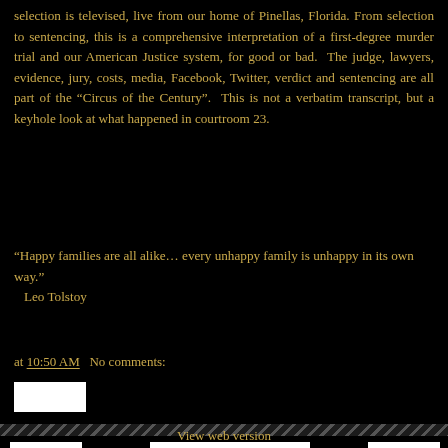selection is televised, live from our home of Pinellas, Florida. From selection to sentencing, this is a comprehensive interpretation of a first-degree murder trial and our American Justice system, for good or bad.  The judge, lawyers, evidence, jury, costs, media, Facebook, Twitter, verdict and sentencing are all part of the “Circus of the Century”.  This is not a verbatim transcript, but a keyhole look at what happened in courtroom 23.
“Happy families are all alike… every unhappy family is unhappy in its own way.”
   Leo Tolstoy
at 10:50 AM   No comments:
[Figure (other): White rectangular button below timestamp]
[Figure (other): Striped divider bar]
[Figure (other): Three white buttons in footer area]
View web version